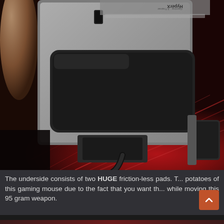[Figure (photo): Close-up photo of the underside of a HyperX gaming mouse showing two large black friction-less pads and a cable attached at the bottom, photographed on a red-lit gaming surface.]
The underside consists of two HUGE friction-less pads. T... potatoes of this gaming mouse due to the fact that you want th... while moving this 95 gram weapon.